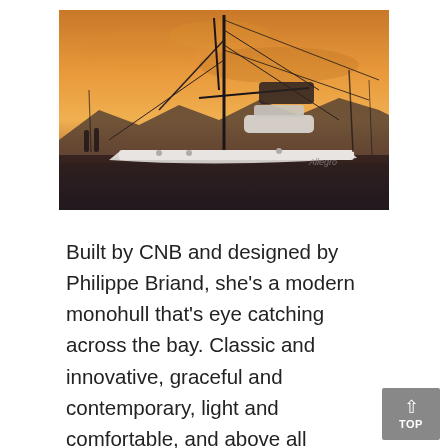[Figure (photo): A sailboat photographed at sunset in a marina. The sky is orange/amber and the boat is partially silhouetted. A blue horizontal bar appears below the image.]
Built by CNB and designed by Philippe Briand, she's a modern monohull that's eye catching across the bay. Classic and innovative, graceful and contemporary, light and comfortable, and above all pleasing to the eye and relaxing to be aboard. Allegro really has it all, from the offset cockpit table and